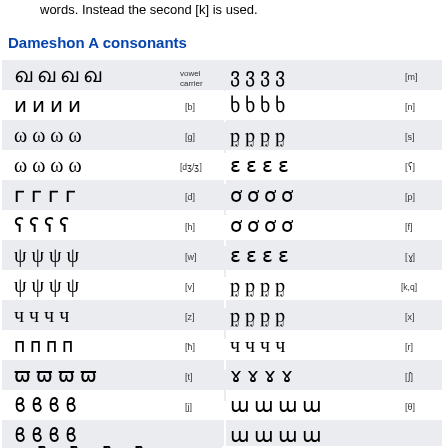words. Instead the second [k] is used.
Dameshon A consonants
[Figure (other): Table of Dameshon A consonant glyphs showing various forms with IPA labels including vowel carrier, [b], [g], [dʒ/ʒ], [d], [h], [w], [v], [z], [ħ], [t], [j] on the left side and [m], [n], [s], [ʕ], [p], [f], [ɣ], [k,q], [x], [r], [ʃ], [θ] on the right side]